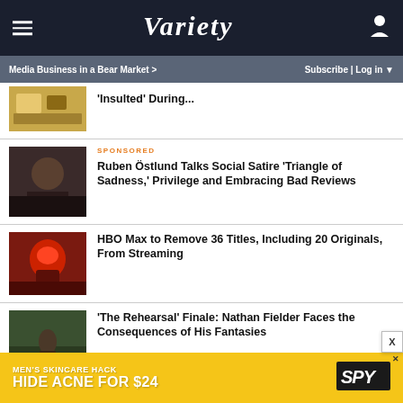Variety
Media Business in a Bear Market >  Subscribe | Log in
'Insulted' During...
SPONSORED
Ruben Östlund Talks Social Satire 'Triangle of Sadness,' Privilege and Embracing Bad Reviews
HBO Max to Remove 36 Titles, Including 20 Originals, From Streaming
'The Rehearsal' Finale: Nathan Fielder Faces the Consequences of His Fantasies
[Figure (infographic): Ad banner: MEN'S SKINCARE HACK / HIDE ACNE FOR $24 with SPY logo on yellow background]